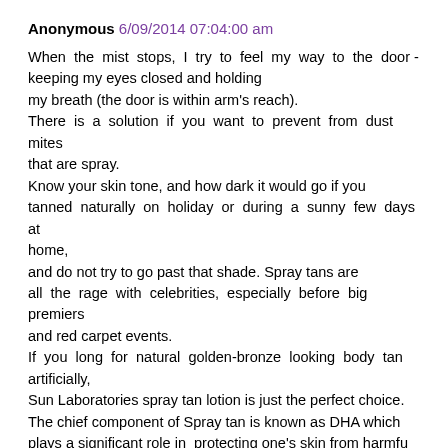Anonymous 6/09/2014 07:04:00 am
When the mist stops, I try to feel my way to the door - keeping my eyes closed and holding
my breath (the door is within arm's reach).
There is a solution if you want to prevent from dust mites that are spray.
Know your skin tone, and how dark it would go if you tanned naturally on holiday or during a sunny few days at home,
and do not try to go past that shade. Spray tans are all the rage with celebrities, especially before big premiers and red carpet events.
If you long for natural golden-bronze looking body tan artificially,
Sun Laboratories spray tan lotion is just the perfect choice.
The chief component of Spray tan is known as DHA which plays a significant role in  protecting one's skin from harmful UV rays.
My Tip: Use a Milk self tanning product for your face, neck and shoulders
and the same for the rest of your body, but then use a